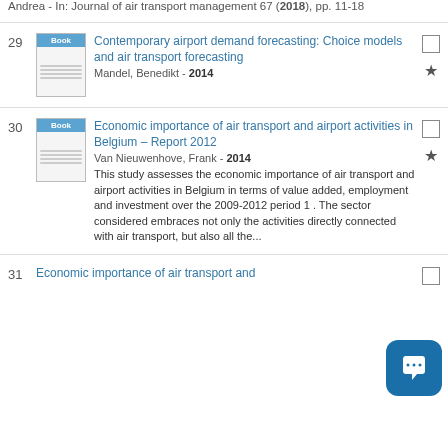Andrea - In: Journal of air transport management 67 (2018), pp. 11-18
29 Contemporary airport demand forecasting: Choice models and air transport forecasting. Mandel, Benedikt - 2014
30 Economic importance of air transport and airport activities in Belgium – Report 2012. Van Nieuwenhove, Frank - 2014. This study assesses the economic importance of air transport and airport activities in Belgium in terms of value added, employment and investment over the 2009-2012 period 1 . The sector considered embraces not only the activities directly connected with air transport, but also all the...
31 Economic importance of air transport and airport activities in Belgium...